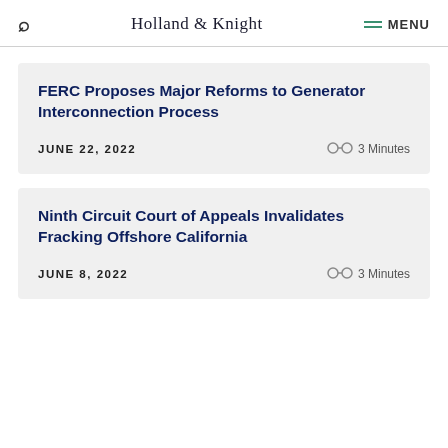Holland & Knight  MENU
FERC Proposes Major Reforms to Generator Interconnection Process
JUNE 22, 2022  3 Minutes
Ninth Circuit Court of Appeals Invalidates Fracking Offshore California
JUNE 8, 2022  3 Minutes